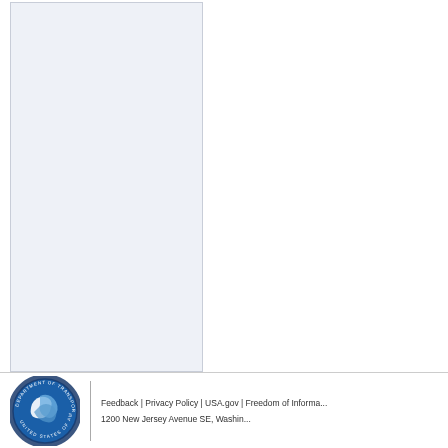[Figure (other): Light blue-grey shaded rectangular box occupying the left portion of the page (sidebar/content panel area)]
[Figure (logo): U.S. Department of Transportation circular seal/logo with blue background and white transportation symbol]
Feedback | Privacy Policy | USA.gov | Freedom of Informa...   1200 New Jersey Avenue SE, Washin...